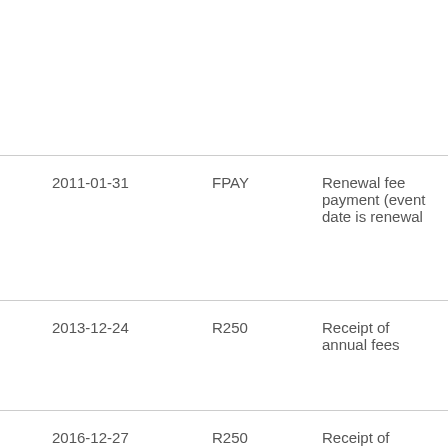| Date | Code | Description |
| --- | --- | --- |
|  |  |  |
| 2011-01-31 | FPAY | Renewal fee payment (event date is renewal |
| 2013-12-24 | R250 | Receipt of annual fees |
| 2016-12-27 | R250 | Receipt of annual fees |
| 2017-07-13 | S531 | Written request for registration of change of |